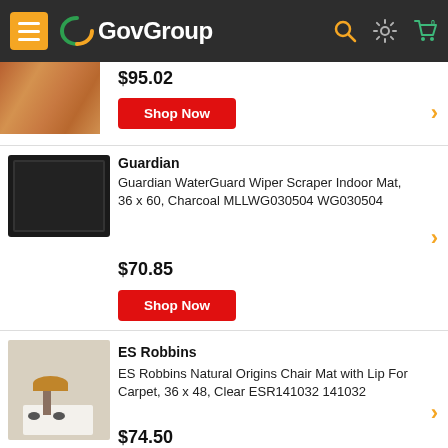GovGroup
$95.02
Shop Now
Guardian
Guardian WaterGuard Wiper Scraper Indoor Mat, 36 x 60, Charcoal MLLWG030504 WG030504
$70.85
Shop Now
ES Robbins
ES Robbins Natural Origins Chair Mat with Lip For Carpet, 36 x 48, Clear ESR141032 141032
$74.50
Shop Now